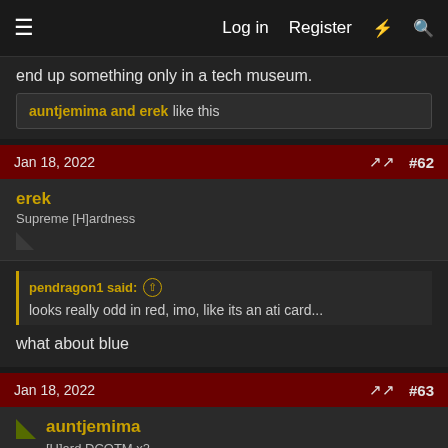Log in  Register
end up something only in a tech museum.
auntjemima and erek like this
Jan 18, 2022  #62
erek
Supreme [H]ardness
pendragon1 said: looks really odd in red, imo, like its an ati card...
what about blue
Jan 18, 2022  #63
auntjemima
[H]ard DCOTM x2